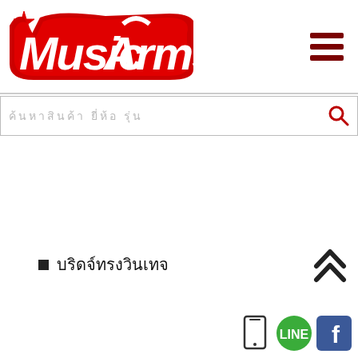[Figure (logo): MusicArms logo in red with star, stylized text]
[Figure (other): Hamburger menu icon (three dark red horizontal lines)]
ค้นหาสินค้า ยี่ห้อ รุ่น
บริดจ์ทรงวินเทจ
[Figure (other): Back to top double chevron arrow icon]
[Figure (other): Mobile phone icon, LINE icon (green circle), Facebook icon (blue square)]